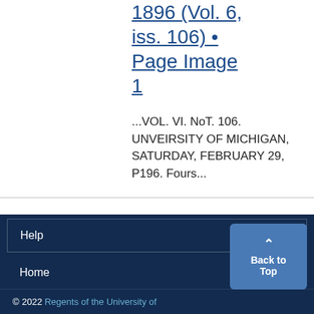1896 (Vol. 6, iss. 106) • Page Image 1
...VOL. VI. NoT. 106. UNVEIRSITY OF MICHIGAN, SATURDAY, FEBRUARY 29, P196. Fours...
Help
Home
© 2022 Regents of the University of